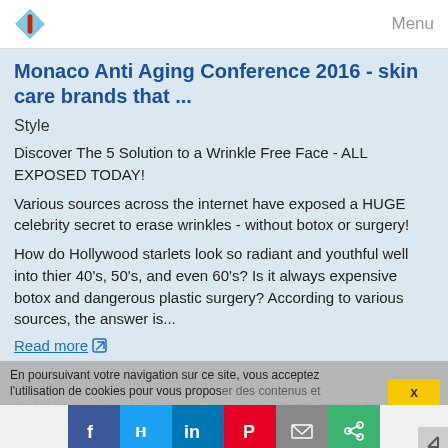Menu
Monaco Anti Aging Conference 2016 - skin care brands that ...
Style
Discover The 5 Solution to a Wrinkle Free Face - ALL EXPOSED TODAY!
Various sources across the internet have exposed a HUGE celebrity secret to erase wrinkles - without botox or surgery!
How do Hollywood starlets look so radiant and youthful well into thier 40's, 50's, and even 60's? Is it always expensive botox and dangerous plastic surgery? According to various sources, the answer is...
Read more
Website: http://skincaresoil.info
Related topics : hyaluronic acid anti aging cream / anti aging wrinkle cream ingredients / anti aging
En poursuivant votre navigation sur ce site, vous acceptez l'utilisation de cookies pour vous proposer des contenus et